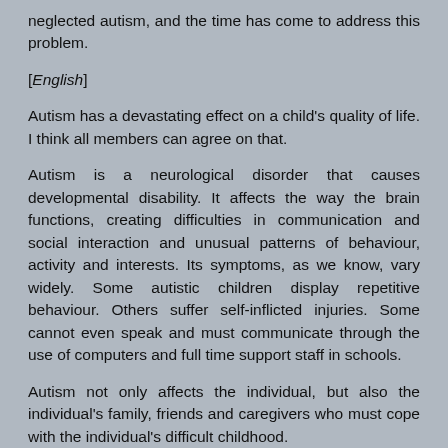neglected autism, and the time has come to address this problem.
[English]
Autism has a devastating effect on a child's quality of life. I think all members can agree on that.
Autism is a neurological disorder that causes developmental disability. It affects the way the brain functions, creating difficulties in communication and social interaction and unusual patterns of behaviour, activity and interests. Its symptoms, as we know, vary widely. Some autistic children display repetitive behaviour. Others suffer self-inflicted injuries. Some cannot even speak and must communicate through the use of computers and full time support staff in schools.
Autism not only affects the individual, but also the individual's family, friends and caregivers who must cope with the individual's difficult childhood.
There is hope for these children. Applied behavioural